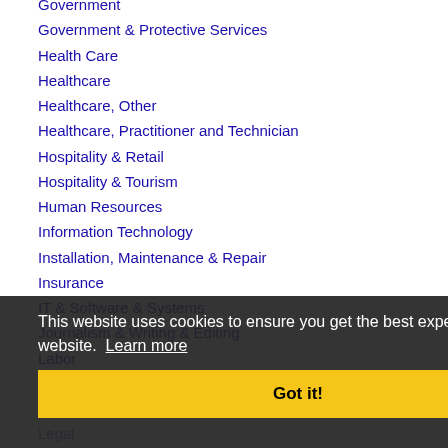Government
Government & Protective Services
Health Care
Healthcare
Healthcare, Other
Healthcare, Practitioner and Technician
Hospitality & Retail
Hospitality & Tourism
Human Resources
Information Technology
Installation, Maintenance & Repair
Insurance
IT & Software & Systems
Journalism & Writing & Editing
Labor
Labor & Trades
Law Enforcement
Legal
Library & Museum
Logistics, Transportation & Drivers
Maintenance & Repair
This website uses cookies to ensure you get the best experience on our website. Learn more
Got it!